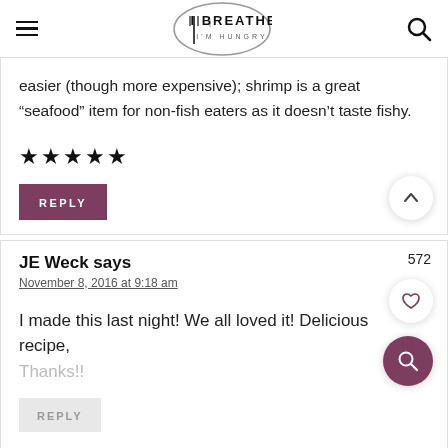I BREATHE I'M HUNGRY
easier (though more expensive); shrimp is a great “seafood” item for non-fish eaters as it doesn’t taste fishy.
★★★★★
REPLY
JE Weck says
November 8, 2016 at 9:18 am
572
I made this last night! We all loved it! Delicious recipe,
Thanks!!